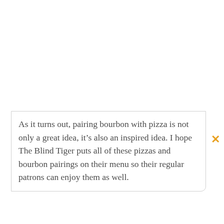As it turns out, pairing bourbon with pizza is not only a great idea, it's also an inspired idea. I hope The Blind Tiger puts all of these pizzas and bourbon pairings on their menu so their regular patrons can enjoy them as well.